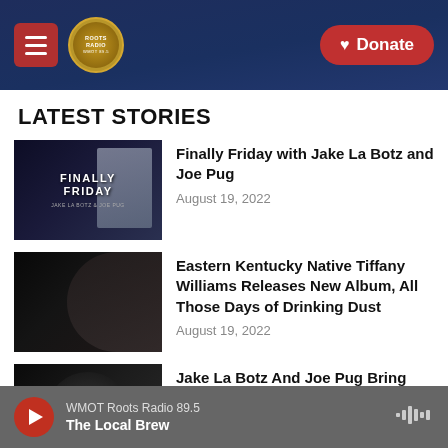Roots Radio | Donate
LATEST STORIES
[Figure (photo): Finally Friday promotional image with Jake La Botz and Joe Pug text overlay]
Finally Friday with Jake La Botz and Joe Pug
August 19, 2022
[Figure (photo): Black and white portrait photo of Tiffany Williams]
Eastern Kentucky Native Tiffany Williams Releases New Album, All Those Days of Drinking Dust
August 19, 2022
[Figure (photo): Black and white photo of Jake La Botz in a car]
Jake La Botz And Joe Pug Bring Drama To Finally Friday
August 17, 2022
WMOT Roots Radio 89.5 | The Local Brew